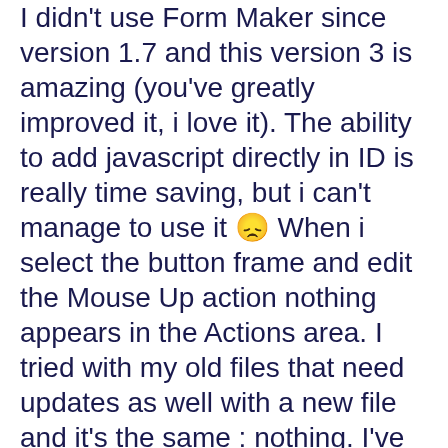I didn't use Form Maker since version 1.7 and this version 3 is amazing (you've greatly improved it, i love it). The ability to add javascript directly in ID is really time saving, but i can't manage to use it 🙁 When i select the button frame and edit the Mouse Up action nothing appears in the Actions area. I tried with my old files that need updates as well with a new file and it's the same : nothing. I've also got the same issue with comb fields : no effect when inserting